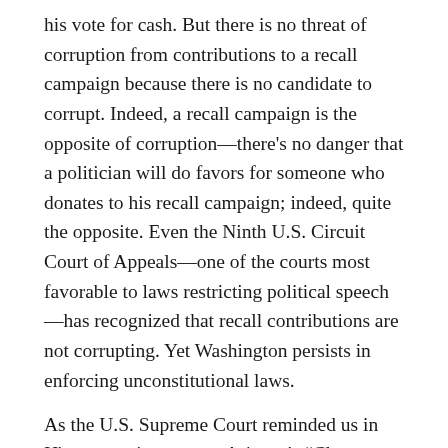his vote for cash. But there is no threat of corruption from contributions to a recall campaign because there is no candidate to corrupt. Indeed, a recall campaign is the opposite of corruption—there's no danger that a politician will do favors for someone who donates to his recall campaign; indeed, quite the opposite. Even the Ninth U.S. Circuit Court of Appeals—one of the courts most favorable to laws restricting political speech—has recognized that recall contributions are not corrupting. Yet Washington persists in enforcing unconstitutional laws.
As the U.S. Supreme Court reminded us in IJ's recent victory over Arizona's "Clean Elections" Act, "[W]hen it comes to [political] speech, the guiding principle is freedom." That is why IJ has teamed